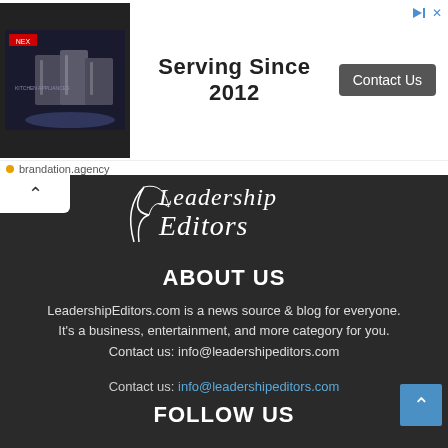[Figure (screenshot): Advertisement banner with product boxes image on dark background, 'Serving Since 2012' text, and 'Contact Us' button]
brandation.agency
[Figure (logo): Leadership Editors logo in italic script font, white text on dark background]
ABOUT US
LeadershipEditors.com is a news source & blog for everyone. It's a business, entertainment, and more category for you. Contact us: info@leadershipeditors.com
Contact us: info@leadershipeditors.com
FOLLOW US